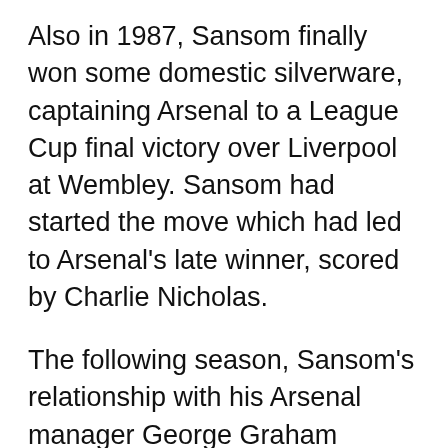Also in 1987, Sansom finally won some domestic silverware, captaining Arsenal to a League Cup final victory over Liverpool at Wembley. Sansom had started the move which had led to Arsenal's late winner, scored by Charlie Nicholas.
The following season, Sansom's relationship with his Arsenal manager George Graham soured and he was replaced as captain by fledgling defender Tony Adams, who was just 21. Sansom did, however, keep his place in the side (even though Graham had just signed a long term replacement in Nigel Winterburn) and Arsenal reached the League Cup final again, only to lose 3–2 to Luton Town in a